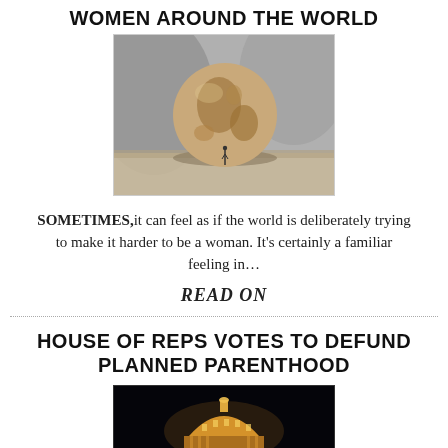WOMEN AROUND THE WORLD
[Figure (photo): Black and white photo of a globe/earth ball sitting on a surface, with a small human figure standing next to it for scale]
SOMETIMES,it can feel as if the world is deliberately trying to make it harder to be a woman. It's certainly a familiar feeling in...
READ ON
HOUSE OF REPS VOTES TO DEFUND PLANNED PARENTHOOD
[Figure (photo): Night photo of the US Capitol building dome lit up, dark background]